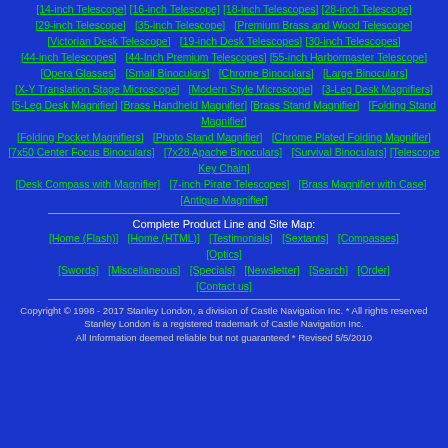[14-inch Telescope] [16-inch Telescope] [18-inch Telescopes] [28-inch Telescope]
[29-inch Telescope]  [35-inch Telescope]  [Premium Brass and Wood Telescope]
[Victorian Desk Telescope]  [19-inch Desk Telescopes]  [30-inch Telescopes]
[44-inch Telescopes]  [44-Inch Premium Telescopes] [55-inch Harbormaster Telescope]
[Opera Glasses]  [Small Binoculars]  [Chrome Binoculars]  [Large Binoculars]
[X-Y Translation Stage Microscope]  [Modern Style Microscope]  [3-Leg Desk Magnifiers]
[5-Leg Desk Magnifier]  [Brass Handheld Magnifier]  [Brass Stand Magnifier]  [Folding Stand Magnifier]
[Folding Pocket Magnifiers]  [Photo Stand Magnifier]  [Chrome Plated Folding Magnifier]
[7x50 Center Focus Binoculars]  [7x28 Apache Binoculars]  [Survival Binoculars]  [Telescope Key Chain]
[Desk Compass with Magnifier]  [7-inch Pirate Telescopes]  [Brass Magnifier with Case]  [Antique Magnifier]
Complete Product Line and Site Map:
[Home (Flash)]  [Home (HTML)]  [Testimonials]  [Sextants]  [Compasses] [Optics]
[Swords]  [Miscellaneous]  [Specials]  [Newsletter]  [Search]  [Order] [Contact us]
Copyright © 1998 - 2017 Stanley London, a division of Castle Navigation Inc. * All rights reserved Stanley London is a registered trademark of Castle Navigation Inc. All Information deemed reliable but not guaranteed * Revised 5/5/2010